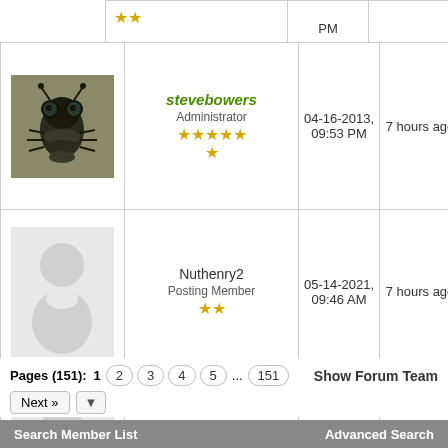| Avatar | Name/Role | Join Date | Last Activity | Posts | Topics |
| --- | --- | --- | --- | --- | --- |
| [partial row] | [stars] | PM |  |  |  |
| [bug photo] | stevebowers / Administrator / 6 stars | 04-16-2013, 09:53 PM | 7 hours ago | 10,085 | 405 |
| [silhouette] | Nuthenry2 / Posting Member / 2 stars | 05-14-2021, 09:46 AM | 7 hours ago | 10 | 1 |
| [silhouette] | Bear / Senior Member / 4 stars | 12-13-2014, 04:31 AM | 7 hours ago | 574 | 35 |
| [ghost photo] | The Ghost Net Swarm / Posting Member / 2 stars | 06-25-2022, 09:15 PM | 7 hours ago | 5 | 4 |
Pages (151): 1 2 3 4 5 ... 151  Show Forum Team  Next »
Search Member List   Advanced Search